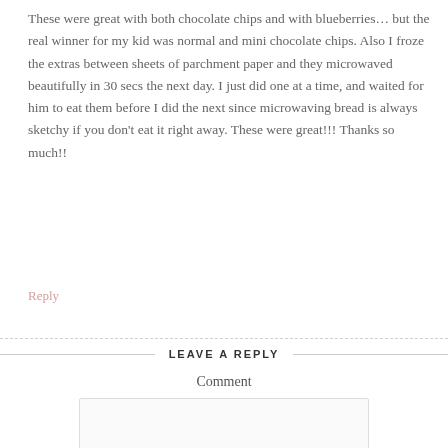These were great with both chocolate chips and with blueberries… but the real winner for my kid was normal and mini chocolate chips. Also I froze the extras between sheets of parchment paper and they microwaved beautifully in 30 secs the next day. I just did one at a time, and waited for him to eat them before I did the next since microwaving bread is always sketchy if you don't eat it right away. These were great!!! Thanks so much!!
Reply
LEAVE A REPLY
Comment